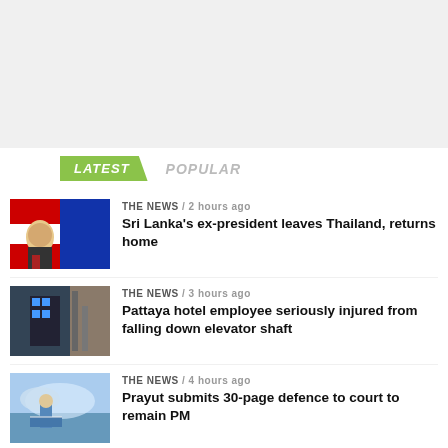[Figure (screenshot): Top banner/advertisement area (light gray blank space)]
LATEST   POPULAR
[Figure (photo): Thumbnail of Sri Lanka ex-president with Thai flag background]
THE NEWS / 2 hours ago
Sri Lanka's ex-president leaves Thailand, returns home
[Figure (photo): Thumbnail of elevator shaft industrial scene]
THE NEWS / 3 hours ago
Pattaya hotel employee seriously injured from falling down elevator shaft
[Figure (photo): Thumbnail of Prayut outdoors with arms spread]
THE NEWS / 4 hours ago
Prayut submits 30-page defence to court to remain PM
[Figure (photo): Thumbnail of a building exterior]
THE NEWS / 4 hours ago
UPDATE: Prayut calls in army to help with Phuket